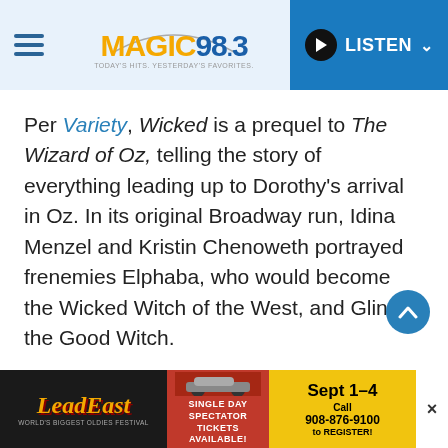Magic 98.3 — TODAY'S HITS, YESTERDAY'S FAVORITES — LISTEN
Per Variety, Wicked is a prequel to The Wizard of Oz, telling the story of everything leading up to Dorothy's arrival in Oz. In its original Broadway run, Idina Menzel and Kristin Chenoweth portrayed frenemies Elphaba, who would become the Wicked Witch of the West, and Glinda the Good Witch.
A decade ago, Ariana Grande tweeted after seeing Wicked that she so badly wanted to
[Figure (other): LeadEast advertisement banner: LeadEast World's Biggest Oldies Festival, Single Day Spectator Tickets Available, Sept 1-4, Call 908-876-9100 to REGISTER!]